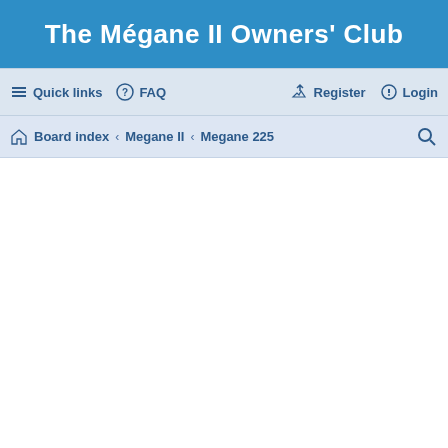The Mégane II Owners' Club
Quick links  FAQ  Register  Login
Board index › Megane II › Megane 225